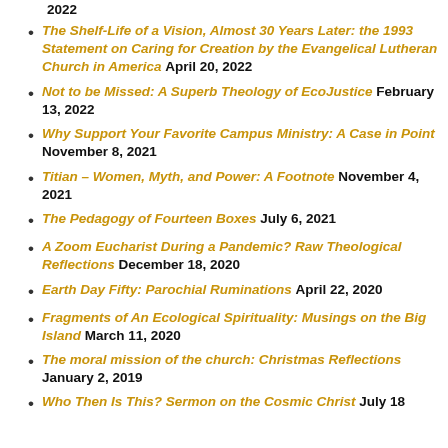2022
The Shelf-Life of a Vision, Almost 30 Years Later: the 1993 Statement on Caring for Creation by the Evangelical Lutheran Church in America April 20, 2022
Not to be Missed: A Superb Theology of EcoJustice February 13, 2022
Why Support Your Favorite Campus Ministry: A Case in Point November 8, 2021
Titian – Women, Myth, and Power: A Footnote November 4, 2021
The Pedagogy of Fourteen Boxes July 6, 2021
A Zoom Eucharist During a Pandemic? Raw Theological Reflections December 18, 2020
Earth Day Fifty: Parochial Ruminations April 22, 2020
Fragments of An Ecological Spirituality: Musings on the Big Island March 11, 2020
The moral mission of the church: Christmas Reflections January 2, 2019
Who Then Is This? Sermon on the Cosmic Christ July 18